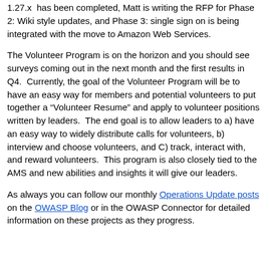1.27.x  has been completed, Matt is writing the RFP for Phase 2: Wiki style updates, and Phase 3: single sign on is being integrated with the move to Amazon Web Services.
The Volunteer Program is on the horizon and you should see surveys coming out in the next month and the first results in Q4.  Currently, the goal of the Volunteer Program will be to have an easy way for members and potential volunteers to put together a “Volunteer Resume” and apply to volunteer positions written by leaders.  The end goal is to allow leaders to a) have an easy way to widely distribute calls for volunteers, b) interview and choose volunteers, and C) track, interact with, and reward volunteers.  This program is also closely tied to the AMS and new abilities and insights it will give our leaders.
As always you can follow our monthly Operations Update posts on the OWASP Blog or in the OWASP Connector for detailed information on these projects as they progress.